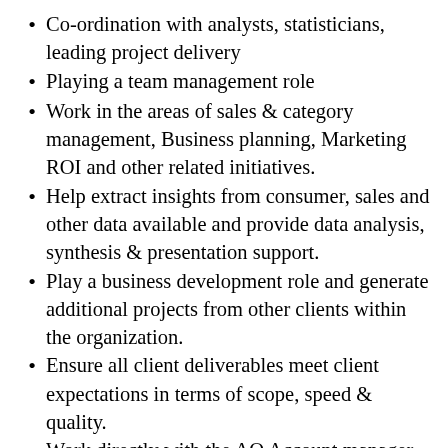Co-ordination with analysts, statisticians, leading project delivery
Playing a team management role
Work in the areas of sales & category management, Business planning, Marketing ROI and other related initiatives.
Help extract insights from consumer, sales and other data available and provide data analysis, synthesis & presentation support.
Play a business development role and generate additional projects from other clients within the organization.
Ensure all client deliverables meet client expectations in terms of scope, speed & quality.
Work directly with the AQ Account manager and with P&L responsibility.